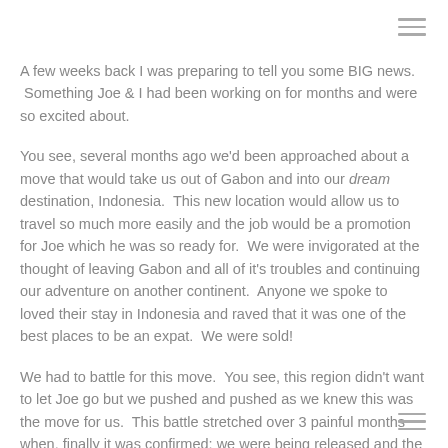A few weeks back I was preparing to tell you some BIG news. Something Joe & I had been working on for months and were so excited about.
You see, several months ago we'd been approached about a move that would take us out of Gabon and into our dream destination, Indonesia. This new location would allow us to travel so much more easily and the job would be a promotion for Joe which he was so ready for. We were invigorated at the thought of leaving Gabon and all of it's troubles and continuing our adventure on another continent. Anyone we spoke to loved their stay in Indonesia and raved that it was one of the best places to be an expat. We were sold!
We had to battle for this move. You see, this region didn't want to let Joe go but we pushed and pushed as we knew this was the move for us. This battle stretched over 3 painful months when, finally it was confirmed; we were being released and the move was approved. Joe & I were elated but until everything was signed we didn't want to say anything.